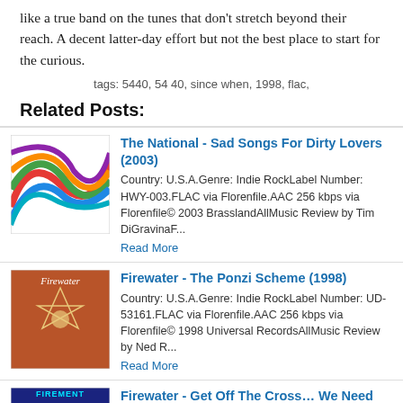like a true band on the tunes that don't stretch beyond their reach. A decent latter-day effort but not the best place to start for the curious.
tags: 5440, 54 40, since when, 1998, flac,
Related Posts:
[Figure (illustration): Album cover for The National - Sad Songs For Dirty Lovers (2003), colorful abstract swirling lines]
The National - Sad Songs For Dirty Lovers (2003)
Country: U.S.A.Genre: Indie RockLabel Number: HWY-003.FLAC via Florenfile.AAC 256 kbps via Florenfile© 2003 BrasslandAllMusic Review by Tim DiGravinaF...
Read More
[Figure (illustration): Album cover for Firewater - The Ponzi Scheme (1998), ornate red/orange design with Firewater text]
Firewater - The Ponzi Scheme (1998)
Country: U.S.A.Genre: Indie RockLabel Number: UD-53161.FLAC via Florenfile.AAC 256 kbps via Florenfile© 1998 Universal RecordsAllMusic Review by Ned R...
Read More
[Figure (illustration): Album cover for Firewater - Get Off The Cross... We Need The Wood For The Fire (1996), blue background with figure]
Firewater - Get Off The Cross... We Need The Wood For The Fire (1996)
Country: U.S.A.Genre: Alternative RockLabel Number: TWA04CD.FLAC via Florenfile.AAC 256 kbps